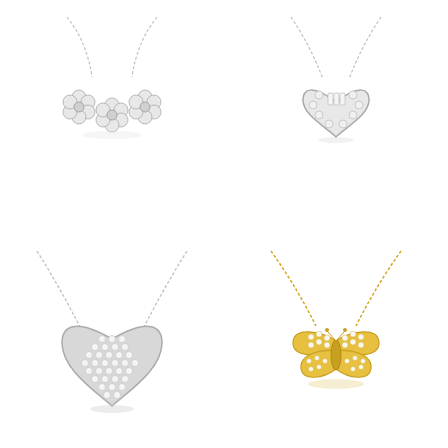[Figure (photo): Silver necklace with three diamond flower cluster pendant on a delicate chain, product photograph on white background]
[Figure (photo): Silver necklace with heart-shaped pendant featuring baguette diamonds in center surrounded by round diamonds, product photograph on white background]
[Figure (photo): Silver necklace with large heart-shaped pavé diamond pendant on a cable chain, product photograph on white background]
[Figure (photo): Gold necklace with butterfly pendant covered in round pavé diamonds, product photograph on white background]